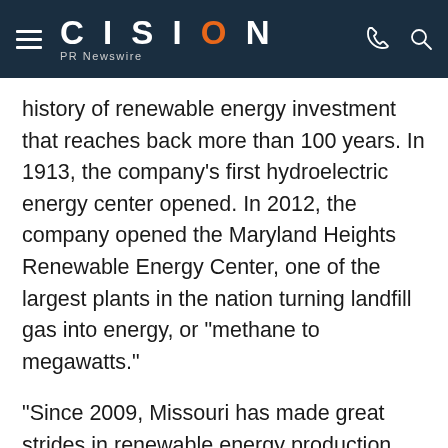CISION PR Newswire
history of renewable energy investment that reaches back more than 100 years. In 1913, the company's first hydroelectric energy center opened. In 2012, the company opened the Maryland Heights Renewable Energy Center, one of the largest plants in the nation turning landfill gas into energy, or "methane to megawatts."
"Since 2009, Missouri has made great strides in renewable energy production, due in large part to Governor Nixon's commitment to clean, affordable and abundant energy," said Llona Weiss, Deputy Director for Administration in the Missouri